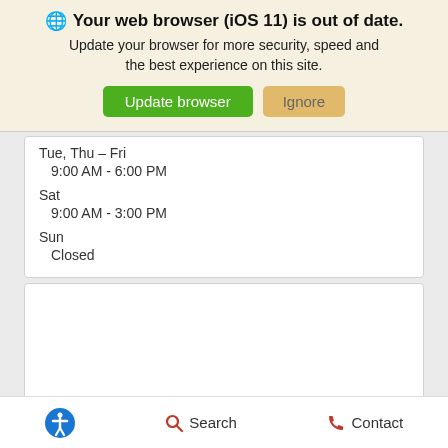🌐 Your web browser (iOS 11) is out of date. Update your browser for more security, speed and the best experience on this site. [Update browser] [Ignore]
Tue, Thu - Fri
9:00 AM - 6:00 PM
Sat
9:00 AM - 3:00 PM
Sun
Closed
♿ Search Contact